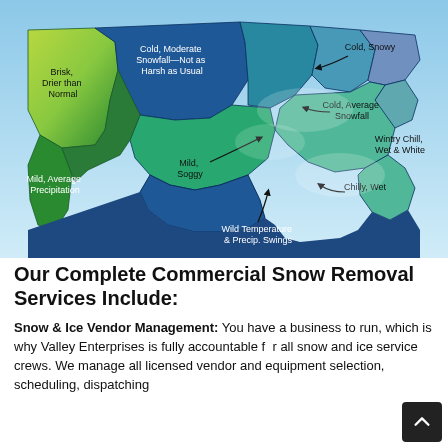[Figure (map): Weather forecast map of the United States showing regional winter weather predictions: Brisk, Drier than Normal (Pacific Northwest), Cold, Moderate Snowfall—Not as Harsh as Usual (Northern Plains/Rockies), Cold, Snowy (Great Lakes/Northeast), Cold, Average Snowfall (Midwest), Mild, Average Precipitation (California), Mild, Soggy (Southwest/Texas), Wintry Chill, Wet & White (Mid-Atlantic), Chilly, Wet (Southeast), Wild Temperature & Precip. Swings (Gulf Coast/South Texas)]
Our Complete Commercial Snow Removal Services Include:
Snow & Ice Vendor Management: You have a business to run, which is why Valley Enterprises is fully accountable for all snow and ice service crews. We manage all licensed vendor and equipment selection, scheduling, dispatching